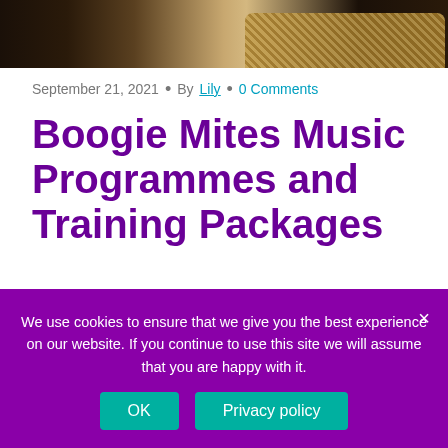[Figure (photo): Cropped top portion of a photo showing people and a wicker basket, dark background]
September 21, 2021  •  By Lily  •  0 Comments
Boogie Mites Music Programmes and Training Packages
What if there was an activity that could grow and improve neural networks like no other activity? What if that activity could be started from birth and the earlier it is
We use cookies to ensure that we give you the best experience on our website. If you continue to use this site we will assume that you are happy with it.